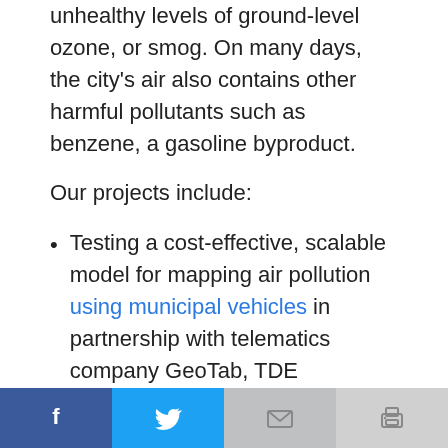unhealthy levels of ground-level ozone, or smog. On many days, the city's air also contains other harmful pollutants such as benzene, a gasoline byproduct.
Our projects include:
Testing a cost-effective, scalable model for mapping air pollution using municipal vehicles in partnership with telematics company GeoTab, TDE Technologies and the city of Houston.
Identifying hotspots for air pollution using
Share bar with Facebook, Twitter, Email, Print icons